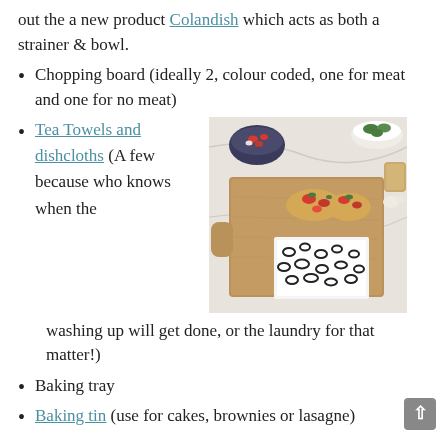out the a new product Colandish which acts as both a strainer & bowl.
Chopping board (ideally 2, colour coded, one for meat and one for no meat)
Tea Towels and dishcloths (A few because who knows when the washing up will get done, or the laundry for that matter!)
[Figure (photo): Food photo showing a wooden chopping board with bruschetta toppings, a bowl of chopped vegetables, salad greens, and patterned black and white tea towels on a marble surface.]
Baking tray
Baking tin (use for cakes, brownies or lasagne)
Some Tupperware (or suggest they clean out and